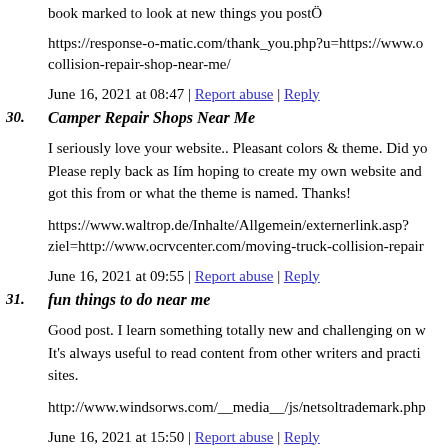book marked to look at new things you postÖ
https://response-o-matic.com/thank_you.php?u=https://www.o collision-repair-shop-near-me/
June 16, 2021 at 08:47 | Report abuse | Reply
30. Camper Repair Shops Near Me
I seriously love your website.. Pleasant colors & theme. Did yo Please reply back as Iím hoping to create my own website and got this from or what the theme is named. Thanks!
https://www.waltrop.de/Inhalte/Allgemein/externerlink.asp? ziel=http://www.ocrvcenter.com/moving-truck-collision-repair
June 16, 2021 at 09:55 | Report abuse | Reply
31. fun things to do near me
Good post. I learn something totally new and challenging on w It's always useful to read content from other writers and practi sites.
http://www.windsorws.com/__media__/js/netsoltrademark.php
June 16, 2021 at 15:50 | Report abuse | Reply
32. pharmacy near me